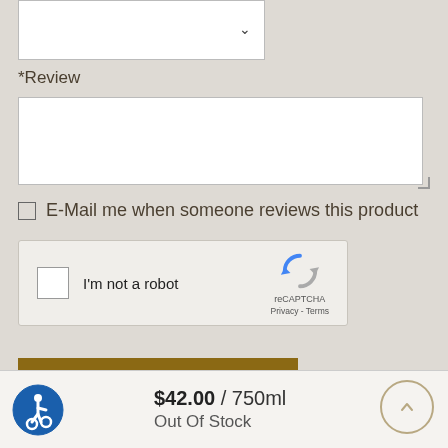[Figure (screenshot): Partial dropdown/select field (cropped at top)]
*Review
[Figure (screenshot): Textarea input box for writing a review]
E-Mail me when someone reviews this product
[Figure (screenshot): reCAPTCHA widget with checkbox 'I'm not a robot', reCAPTCHA logo, Privacy and Terms links]
[Figure (screenshot): ADD YOUR REVIEW button in dark gold/brown color]
[Figure (screenshot): Footer bar with accessibility icon, price $42.00 / 750ml, Out Of Stock text, and scroll-to-top button]